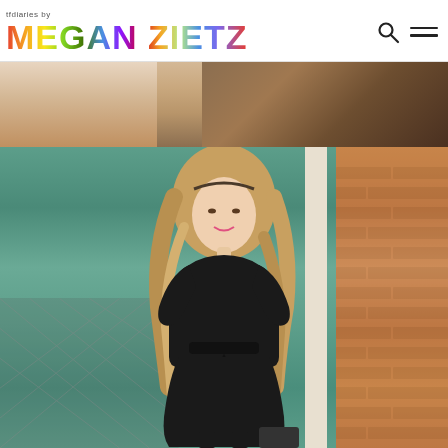tfdiaries by MEGAN ZIETZ
[Figure (photo): Cropped top portion of a photo showing a person's hair and partial face against a warm-toned background.]
[Figure (photo): Full-length fashion photo of a young woman with long wavy blonde hair wearing a black wrap dress, standing in front of a teal/green siding wall and brick column, with a chain-link fence visible on the left.]